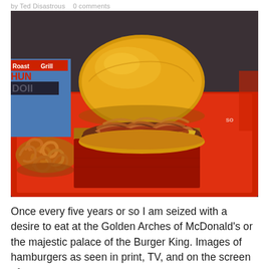by Ted Disastrous  0 comments
[Figure (photo): A large burger in a cardboard box on a red fast food tray, with curly fries visible on the left side. The burger has melted cheese, bacon, and pulled meat. Background shows fast food restaurant decor.]
Once every five years or so I am seized with a desire to eat at the Golden Arches of McDonald's or the majestic palace of the Burger King. Images of hamburgers as seen in print, TV, and on the screen of